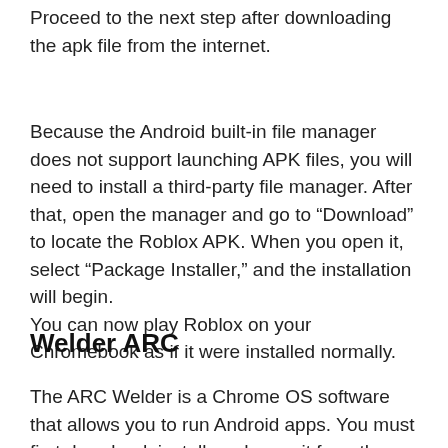Proceed to the next step after downloading the apk file from the internet.
Because the Android built-in file manager does not support launching APK files, you will need to install a third-party file manager. After that, open the manager and go to “Download” to locate the Roblox APK. When you open it, select “Package Installer,” and the installation will begin.
You can now play Roblox on your Chromebook as if it were installed normally.
Welder ARC
The ARC Welder is a Chrome OS software that allows you to run Android apps. You must first download, install, and open it from the Chrome